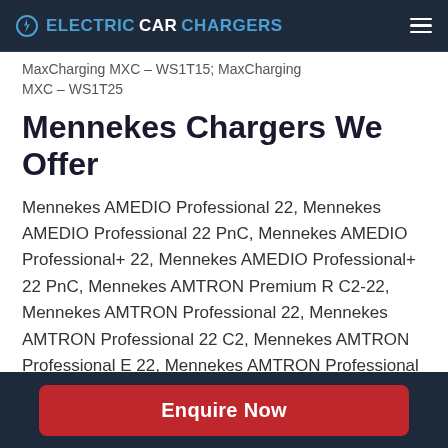ELECTRICCARCHARGERS
MaxCharging MXC – WS1T15; MaxCharging MXC – WS1T25
Mennekes Chargers We Offer
Mennekes AMEDIO Professional 22, Mennekes AMEDIO Professional 22 PnC, Mennekes AMEDIO Professional+ 22, Mennekes AMEDIO Professional+ 22 PnC, Mennekes AMTRON Premium R C2-22, Mennekes AMTRON Professional 22, Mennekes AMTRON Professional 22 C2, Mennekes AMTRON Professional E 22, Mennekes AMTRON Professional E 22 C2, Mennekes AMTRON
Enquire Now